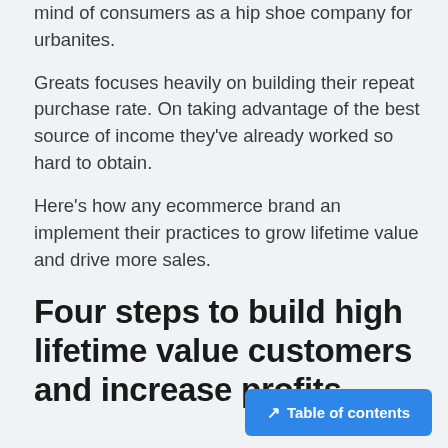mind of consumers as a hip shoe company for urbanites.
Greats focuses heavily on building their repeat purchase rate. On taking advantage of the best source of income they've already worked so hard to obtain.
Here's how any ecommerce brand an implement their practices to grow lifetime value and drive more sales.
Four steps to build high lifetime value customers and increase profits
↗ Table of contents